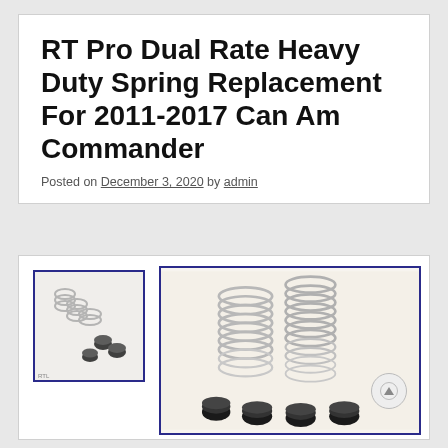RT Pro Dual Rate Heavy Duty Spring Replacement For 2011-2017 Can Am Commander
Posted on December 3, 2020 by admin
[Figure (photo): Thumbnail image of dual rate heavy duty springs and rubber bump stops arranged diagonally, with blue border]
[Figure (photo): Main product image showing two large silver coil springs and several black rubber bump stop rings on a light beige background, with blue border]